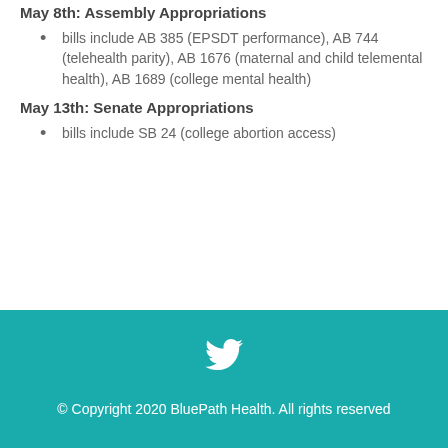May 8th: Assembly Appropriations
bills include AB 385 (EPSDT performance), AB 744 (telehealth parity), AB 1676 (maternal and child telemental health), AB 1689 (college mental health)
May 13th: Senate Appropriations
bills include SB 24 (college abortion access)
© Copyright 2020 BluePath Health. All rights reserved